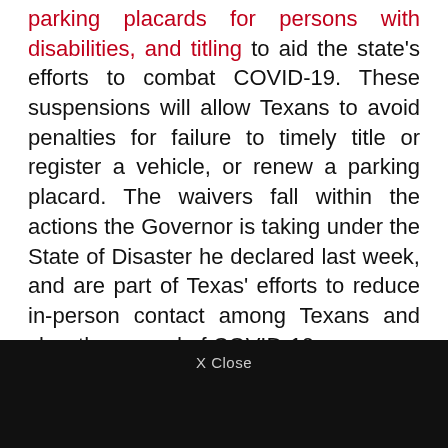parking placards for persons with disabilities, and titling to aid the state's efforts to combat COVID-19. These suspensions will allow Texans to avoid penalties for failure to timely title or register a vehicle, or renew a parking placard. The waivers fall within the actions the Governor is taking under the State of Disaster he declared last week, and are part of Texas' efforts to reduce in-person contact among Texans and slow the spread of COVID-19.
"The State of Texas continues to implement a comprehensive plan to mitigate the spread of COVID-19, and that includes strategies to reduce preventable in-person contact," said Governor Abbott. "By suspending these rules, Texans can avoid unnecessary crowds and in-person contact without fear of being penalized. We encourage all Texans to continue practicing social distancing and to take preventative actions to protect their health and the health of those around them."
X Close